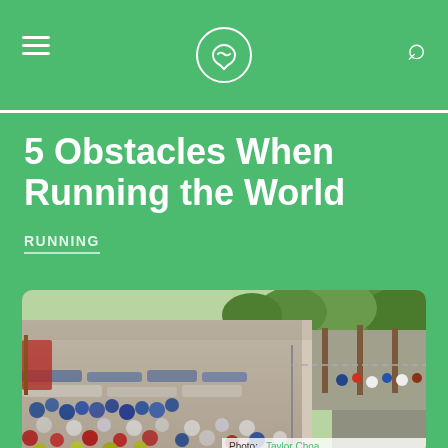Navigation header with hamburger menu, logo, and search icon
5 Obstacles When Running the World
RUNNING
[Figure (photo): Aerial view of a massive crowd of marathon runners on a city street lined with trees. Runners wear colorful athletic gear in blue, white, red, yellow, and green. Photo credit: Taylor Choa]